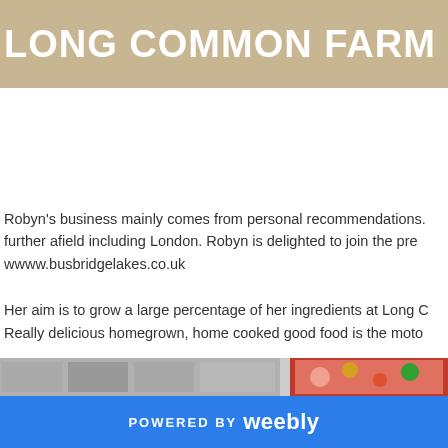LONG COMMON FARM
Robyn's business mainly comes from personal recommendations. further afield including London. Robyn is delighted to join the pre www.busbridgelakes.co.uk
Her aim is to grow a large percentage of her ingredients at Long C Really delicious homegrown, home cooked good food is the moto
[Figure (photo): Image strip at bottom of page showing food/farm photos]
POWERED BY weebly